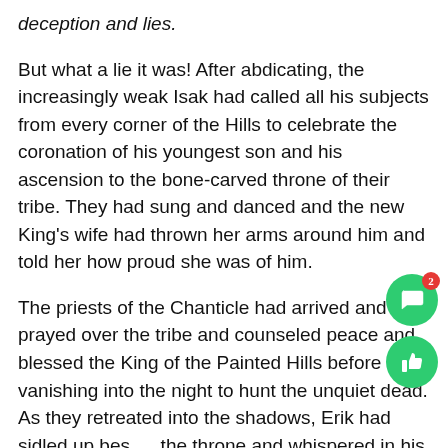deception and lies.
But what a lie it was! After abdicating, the increasingly weak Isak had called all his subjects from every corner of the Hills to celebrate the coronation of his youngest son and his ascension to the bone-carved throne of their tribe. They had sung and danced and the new King's wife had thrown her arms around him and told her how proud she was of him.
The priests of the Chanticle had arrived and had prayed over the tribe and counseled peace and blessed the King of the Painted Hills before vanishing into the night to hunt the unquiet dead. As they retreated into the shadows, Erik had sidled up beside the throne and whispered in his brother's ear.
“Know this, my friend. That is the last blessing you will ever recieve.”